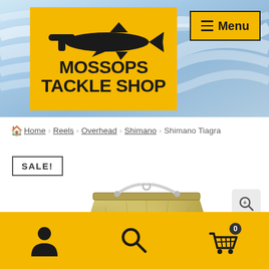[Figure (logo): Mossops Tackle Shop logo — yellow background with hammerhead shark silhouette above bold black text 'MOSSOPS TACKLE SHOP']
[Figure (illustration): Navigation menu button with hamburger icon (three horizontal lines) and 'Menu' text, yellow background with black border]
Home > Reels > Overhead > Shimano > Shimano Tiagra
SALE!
[Figure (photo): Partial view of a gold/metallic Shimano Tiagra overhead fishing reel showing the top portion of the reel body with a bail wire]
[Figure (illustration): Magnifying glass zoom-in button in light gray rounded square]
[Figure (illustration): Bottom navigation bar on yellow background with three icons: user/person icon, search/magnifying glass icon, and shopping cart icon with badge showing 0]